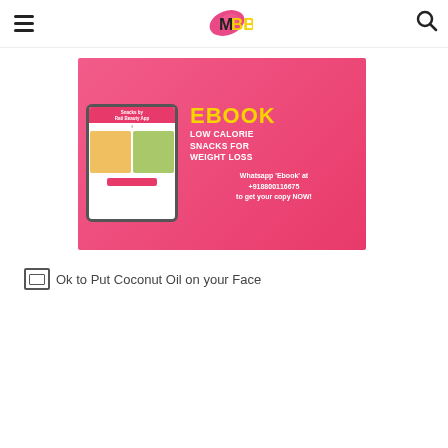IMBB navigation bar with hamburger menu and search icon
[Figure (infographic): Pink promotional banner for an ebook on Low Calorie Snacks for Weight Loss by Rati Beauty App. Shows a tablet mockup on the left with food images, and on the right: 'EBOOK' in yellow, 'LOW CALORIE SNACKS FOR WEIGHT LOSS' in white bold, 'Whatsapp Ebook at +918800116675 to get your copy NOW!' in white.]
[Figure (photo): Broken image placeholder with alt text: Ok to Put Coconut Oil on your Face]